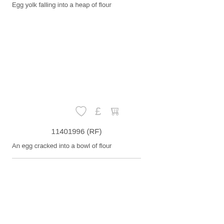Egg yolk falling into a heap of flour
[Figure (other): Large blank/white image area representing a stock photo thumbnail (not visible)]
11401996 (RF)
An egg cracked into a bowl of flour